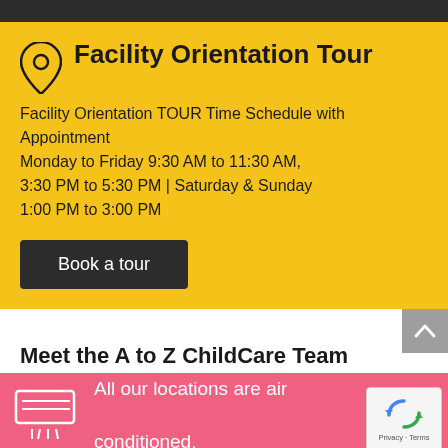Facility Orientation Tour
Facility Orientation TOUR Time Schedule with Appointment
Monday to Friday 9:30 AM to 11:30 AM, 3:30 PM to 5:30 PM | Saturday & Sunday 1:00 PM to 3:00 PM
Book a tour
Meet the A to Z ChildCare Team
All our locations are air conditioned.